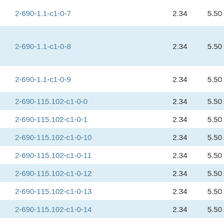| ID | Col1 | Col2 |
| --- | --- | --- |
| 2-690-1.1-c1-0-7 | 2.34 | 5.50 |
| 2-690-1.1-c1-0-8 | 2.34 | 5.50 |
| 2-690-1.1-c1-0-9 | 2.34 | 5.50 |
| 2-690-115.102-c1-0-0 | 2.34 | 5.50 |
| 2-690-115.102-c1-0-1 | 2.34 | 5.50 |
| 2-690-115.102-c1-0-10 | 2.34 | 5.50 |
| 2-690-115.102-c1-0-11 | 2.34 | 5.50 |
| 2-690-115.102-c1-0-12 | 2.34 | 5.50 |
| 2-690-115.102-c1-0-13 | 2.34 | 5.50 |
| 2-690-115.102-c1-0-14 | 2.34 | 5.50 |
| 2-690-115.102-c1-0-15 | 2.34 | 5.50 |
| 2-690-115.102-c1-0-16 | 2.34 | 5.50 |
| 2-690-115.102-c1-0-17 | 2.34 | 5.50 |